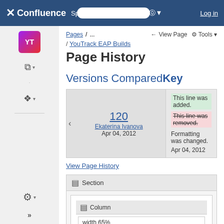Confluence — Spaces ... More Log in
Pages / ... / YouTrack EAP Builds
Page History
Versions Compared Key
| Version | Key |
| --- | --- |
| 120
Ekaterina Ivanova
Apr 04, 2012 | This line was added.
This line was removed.
Formatting was changed.
Apr 04, 2012 |
View Page History
Section
Column
width 65%